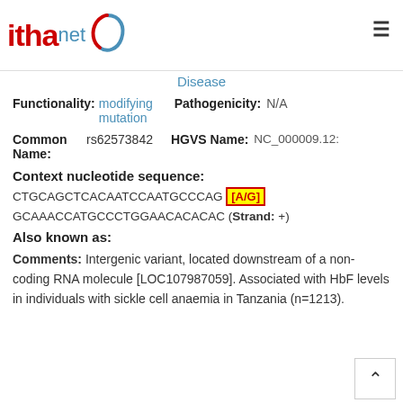ithanet
Disease
Functionality: modifying mutation   Pathogenicity: N/A
Common Name: rs62573842   HGVS Name: NC_000009.12:
Context nucleotide sequence:
CTGCAGCTCACAATCCAATGCCCAG [A/G] GCAAACCATGCCCTGGAACACACAC (Strand: +)
Also known as:
Comments: Intergenic variant, located downstream of a non-coding RNA molecule [LOC107987059]. Associated with HbF levels in individuals with sickle cell anaemia in Tanzania (n=1213).